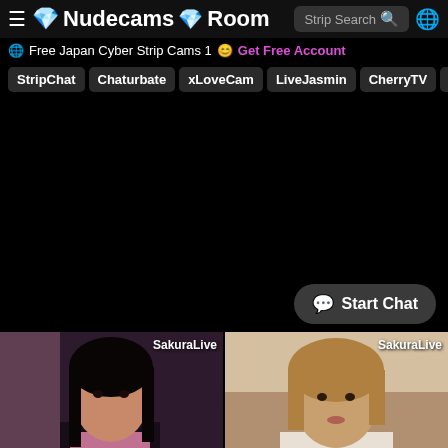💎 Nudecams 💎 Room  Strip Search  🌐
🌐 Free Japan Cyber Strip Cams 1 😊 Get Free Account
StripChat
Chaturbate
xLoveCam
LiveJasmin
CherryTV
xCams
[Figure (screenshot): Black background area (advertisement/video area)]
💬 Start Chat
[Figure (photo): Thumbnail of young woman with dark hair, pink background, labeled SakuraLive]
[Figure (photo): Thumbnail of young woman with light brown hair, labeled SakuraLive]